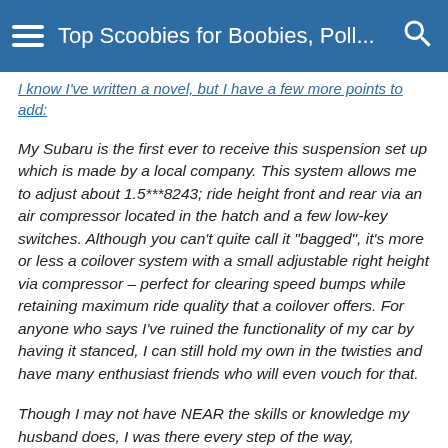Top Scoobies for Boobies, Poll...
I know I've written a novel, but I have a few more points to add:
My Subaru is the first ever to receive this suspension set up which is made by a local company. This system allows me to adjust about 1.5***8243; ride height front and rear via an air compressor located in the hatch and a few low-key switches. Although you can't quite call it "bagged", it's more or less a coilover system with a small adjustable right height via compressor – perfect for clearing speed bumps while retaining maximum ride quality that a coilover offers. For anyone who says I've ruined the functionality of my car by having it stanced, I can still hold my own in the twisties and have many enthusiast friends who will even vouch for that.
Though I may not have NEAR the skills or knowledge my husband does, I was there every step of the way,